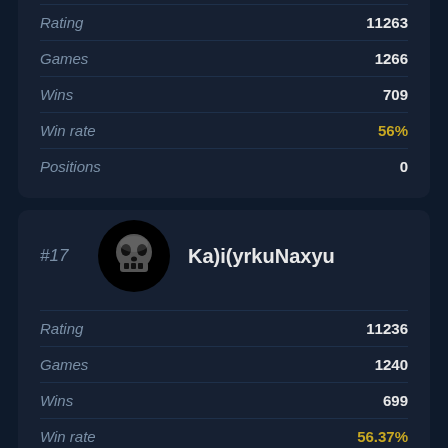| Stat | Value |
| --- | --- |
| Rating | 11263 |
| Games | 1266 |
| Wins | 709 |
| Win rate | 56% |
| Positions | 0 |
#17 Ka)i(yrkuNaxyu
| Stat | Value |
| --- | --- |
| Rating | 11236 |
| Games | 1240 |
| Wins | 699 |
| Win rate | 56.37% |
| Positions | 0 |